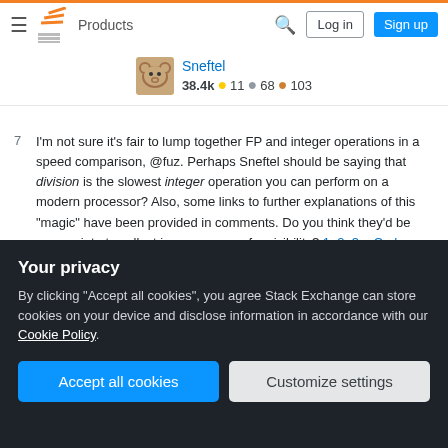Stack Exchange navigation bar with hamburger menu, logo, Products, search, Log in, Sign up
Sneftel 38.4k ● 11 ● 68 ● 103
7 I'm not sure it's fair to lump together FP and integer operations in a speed comparison, @fuz. Perhaps Sneftel should be saying that division is the slowest integer operation you can perform on a modern processor? Also, some links to further explanations of this "magic" have been provided in comments. Do you think they'd be appropriate to collect in your answer for visibility? 1, 2, 3 – Cody Gray ♦ Dec 16, 2016 at 15:00
3 Because the sequence of operations is functionally identical – this is always a requirement, even at
negative signed integers for example.)
Your privacy
By clicking "Accept all cookies", you agree Stack Exchange can store cookies on your device and disclose information in accordance with our Cookie Policy.
Accept all cookies | Customize settings